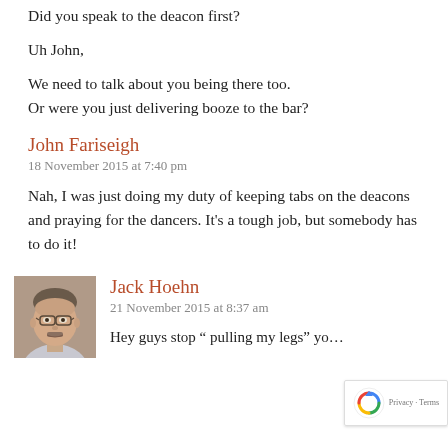Did you speak to the deacon first?
Uh John,
We need to talk about you being there too.
Or were you just delivering booze to the bar?
John Fariseigh
18 November 2015 at 7:40 pm
Nah, I was just doing my duty of keeping tabs on the deacons and praying for the dancers. It’s a tough job, but somebody has to do it!
[Figure (photo): Avatar photo of Jack Hoehn, showing an older man with glasses]
Jack Hoehn
21 November 2015 at 8:37 am
Hey guys stop “ pulling my legs” yo...